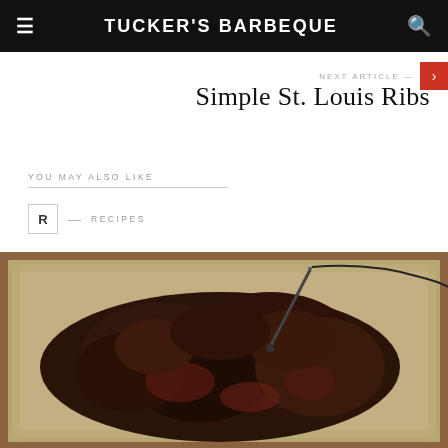TUCKER'S BARBEQUE
NEXT ARTICLE —
Simple St. Louis Ribs
YOU MAY ALSO LIKE
R — RECIPES
[Figure (photo): Smoked BBQ ribs in an aluminum tray with a meat thermometer probe inserted, showing dark bark on the exterior of the meat]